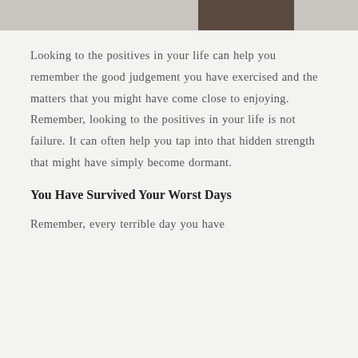[Figure (photo): Partial photo strip at top of page showing a person in dark clothing against a light background]
Looking to the positives in your life can help you remember the good judgement you have exercised and the matters that you might have come close to enjoying. Remember, looking to the positives in your life is not failure. It can often help you tap into that hidden strength that might have simply become dormant.
You Have Survived Your Worst Days
Remember, every terrible day you have